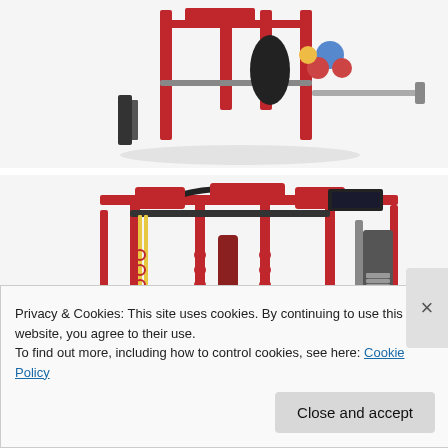[Figure (photo): Partial view of a red multi-station gym equipment/fitness rack with various attachments, barbells, and accessories, photographed from above at an angle against a white background.]
[Figure (photo): A red multi-station gym functional training unit with cable systems, battle ropes, punching bag, trampoline/rebounder on the floor, medicine balls, and various exercise attachments, shown as a 3D render against a white background.]
Privacy & Cookies: This site uses cookies. By continuing to use this website, you agree to their use.
To find out more, including how to control cookies, see here: Cookie Policy
Close and accept